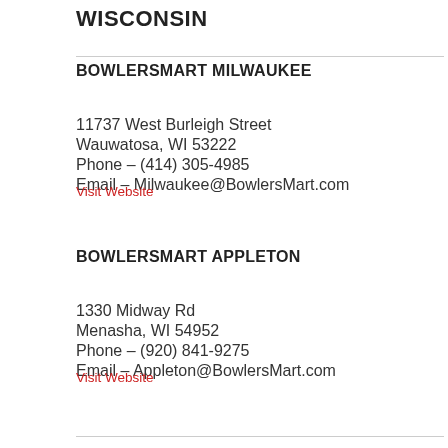WISCONSIN
BOWLERSMART MILWAUKEE
11737 West Burleigh Street
Wauwatosa, WI 53222
Phone – (414) 305-4985
Email – Milwaukee@BowlersMart.com
Visit Website
BOWLERSMART APPLETON
1330 Midway Rd
Menasha, WI 54952
Phone – (920) 841-9275
Email – Appleton@BowlersMart.com
Visit Website